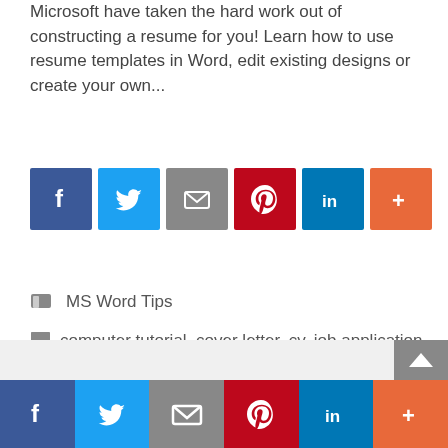Microsoft have taken the hard work out of constructing a resume for you! Learn how to use resume templates in Word, edit existing designs or create your own...
[Figure (infographic): Social share buttons row: Facebook (blue), Twitter (light blue), Email (grey), Pinterest (red), LinkedIn (dark blue), More/plus (orange)]
MS Word Tips
computer tutorial, cover letter, cv, job application, Microsoft Word, resume
2 Comments
[Figure (infographic): Bottom sticky social share bar: Facebook, Twitter, Email, Pinterest, LinkedIn, More — with scroll-to-top button]